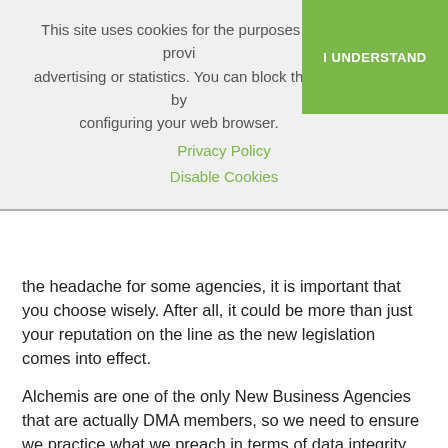This site uses cookies for the purposes of providing advertising or statistics. You can block them by configuring your web browser.
Privacy Policy
Disable Cookies
the headache for some agencies, it is important that you choose wisely. After all, it could be more than just your reputation on the line as the new legislation comes into effect.
Alchemis are one of the only New Business Agencies that are actually DMA members, so we need to ensure we practice what we preach in terms of data integrity and compliance.
What next?
Undoubtedly, the subject of GDPR will be increasingly in the news over the coming months. I suspect there will be a few high-profile cases of big name organisations hit with hefty fines for some misdemeanour or other. On top of this, there is an ever-increasing industry blossoming offering various compliance solutions to companies – some no doubt necessary and some blatant opportunism playing on people's fears in order to generate revenue. However, GDPR is something that will affect every company in Britain and